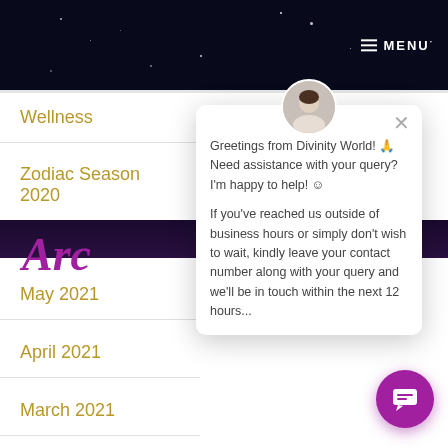≡ MENU·
Wellness
Zodiac Season 2020
Arc
May 2021
April 2021
March 2021
Greetings from Divinity World! 🙏 Need assistance with your query? I'm happy to help! ☺

If you've reached us outside of business hours or simply don't wish to wait, kindly leave your contact number along with your query and we'll be in touch within the next 12 hours...